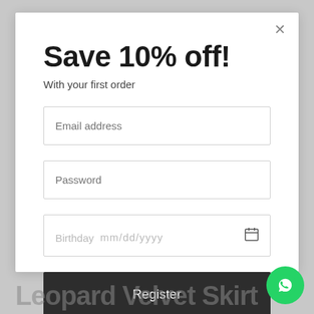Save 10% off!
With your first order
Email address
Password
Birthday  mm/dd/yyyy
Register